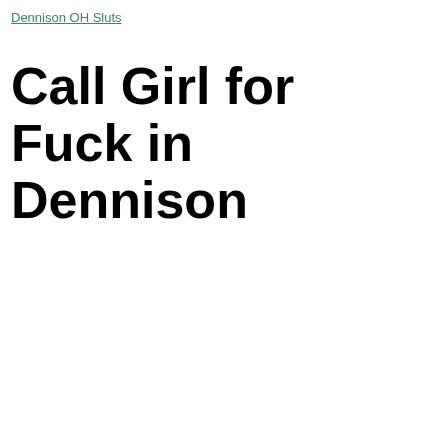Dennison OH Sluts
Call Girl for Fuck in Dennison